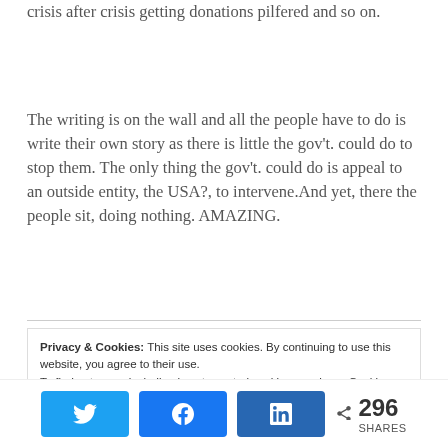crisis after crisis getting donations pilfered and so on.
The writing is on the wall and all the people have to do is write their own story as there is little the gov't. could do to stop them. The only thing the gov't. could do is appeal to an outside entity, the USA?, to intervene.And yet, there the people sit, doing nothing. AMAZING.
Privacy & Cookies: This site uses cookies. By continuing to use this website, you agree to their use.
To find out more, including how to control cookies, see here: Cookie Policy
296 SHARES